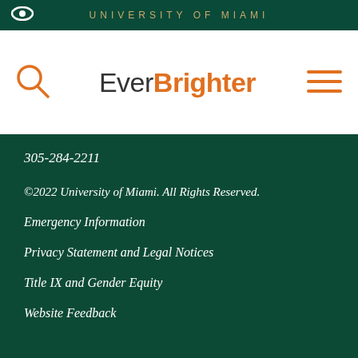UNIVERSITY OF MIAMI
Ever Brighter
305-284-2211
©2022 University of Miami. All Rights Reserved.
Emergency Information
Privacy Statement and Legal Notices
Title IX and Gender Equity
Website Feedback